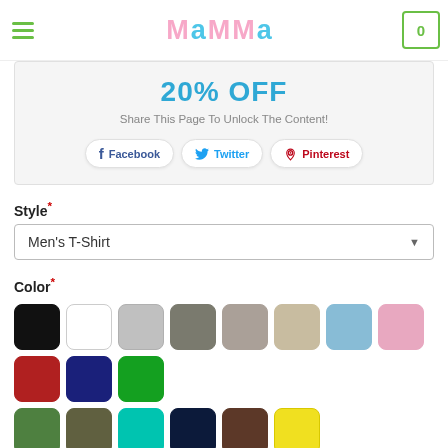Mamma logo with hamburger menu and cart
20% OFF
Share This Page To Unlock The Content!
Facebook  Twitter  Pinterest
Style*
Men's T-Shirt
Color*
[Figure (other): Color swatches grid showing selectable t-shirt colors: black, white, light gray, gray, light tan gray, tan/khaki, light blue, light pink, red, navy blue, green, forest green, olive, teal, dark navy, brown, yellow]